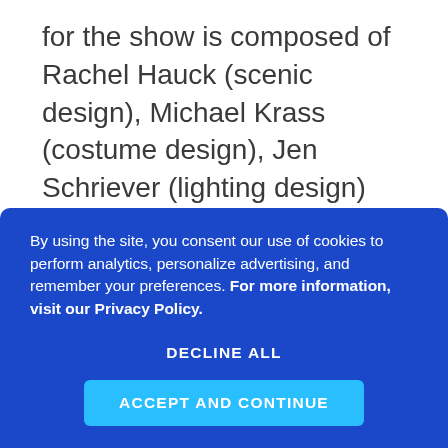for the show is composed of Rachel Hauck (scenic design), Michael Krass (costume design), Jen Schriever (lighting design) and Sinan Zafar (sound design). For its Broadway berth, What the Constitution Means to Me will be produced by Diana DiMenna, Aaron Glick, and Matt Ross.
Mark Robinson is the author of the two-volume encyclopedia The World of Musicals, The Disney Song Encyclopedia, and The Encyclopedia of
By using the site, you consent our use of cookies to perform analytics, personalize advertising, and remember your preferences. For more information, visit our Privacy Policy.
DECLINE ALL
ACCEPT AND CONTINUE